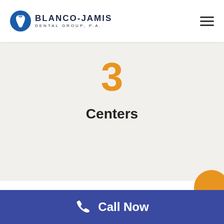[Figure (logo): Blanco-Jamis Dental Group P.A. logo with tooth icon and text]
3
Centers
Call Now